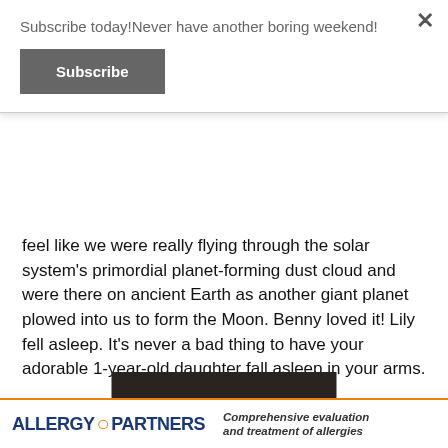Subscribe today!Never have another boring weekend!
Subscribe
feel like we were really flying through the solar system's primordial planet-forming dust cloud and were there on ancient Earth as another giant planet plowed into us to form the Moon. Benny loved it! Lily fell asleep. It's never a bad thing to have your adorable 1-year-old daughter fall asleep in your arms.
[Figure (photo): Child leaning over a blue and orange interactive exhibit table at a museum, reaching toward objects on the table. Museum interior visible in background.]
ALLERGY PARTNERS    Comprehensive evaluation and treatment of allergies